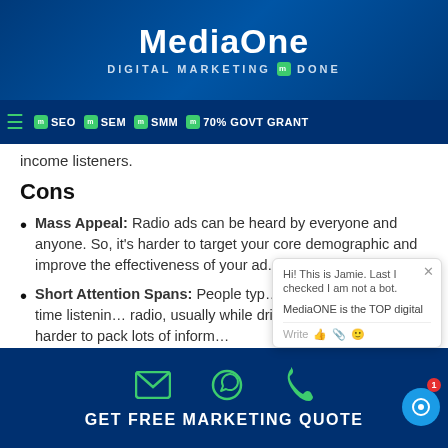MediaOne — DIGITAL MARKETING DONE
SEO | SEM | SMM | 70% GOVT GRANT
income listeners.
Cons
Mass Appeal: Radio ads can be heard by everyone and anyone. So, it's harder to target your core demographic and improve the effectiveness of your ad.
Short Attention Spans: People typically don't spend too much time listening to radio, usually while driving or commuting. So, it's harder to pack lots of information...
GET FREE MARKETING QUOTE